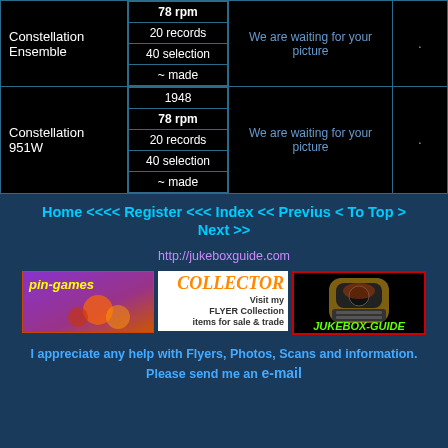| Model | Specs | Photo | Price |
| --- | --- | --- | --- |
| Constellation Ensemble | 78 rpm / 20 records / 40 selection / ~ made | We are waiting for your picture | . |
| Constellation 951W | 1948 / 78 rpm / 20 records / 40 selection / ~ made | We are waiting for your picture | . |
Home <<<< Register <<< Index << Previus < To Top > Next >>
http://jukeboxguide.com
[Figure (illustration): pin-games banner with purple/orange background]
[Figure (illustration): COLLECTOR flyer collection banner on white background]
[Figure (illustration): JUKEBOX-GUIDE banner with jukebox image on black background with red border]
I appreciate any help with Flyers, Photos, Scans and information. Please send me an e-mail